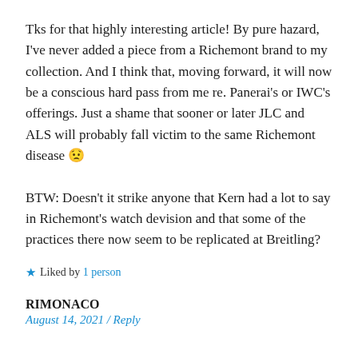Tks for that highly interesting article! By pure hazard, I've never added a piece from a Richemont brand to my collection. And I think that, moving forward, it will now be a conscious hard pass from me re. Panerai's or IWC's offerings. Just a shame that sooner or later JLC and ALS will probably fall victim to the same Richemont disease 🙁

BTW: Doesn't it strike anyone that Kern had a lot to say in Richemont's watch devision and that some of the practices there now seem to be replicated at Breitling?
★ Liked by 1 person
RIMONACO
August 14, 2021 / Reply